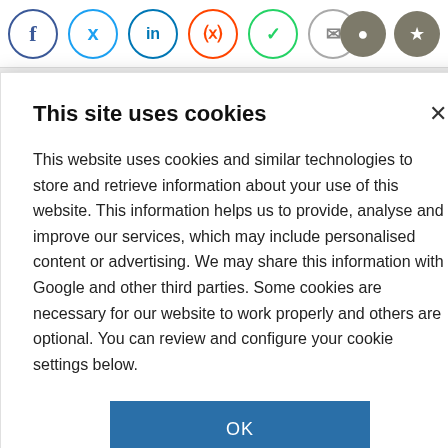[Figure (screenshot): Social media sharing icons row: Facebook, Twitter, LinkedIn, Reddit, WhatsApp, Email circles; dark circle comment and star icons on right]
ndation polyfluoroalkyl
This site uses cookies
This website uses cookies and similar technologies to store and retrieve information about your use of this website. This information helps us to provide, analyse and improve our services, which may include personalised content or advertising. We may share this information with Google and other third parties. Some cookies are necessary for our website to work properly and others are optional. You can review and configure your cookie settings below.
OK
COOKIE SETTINGS
GET MORE